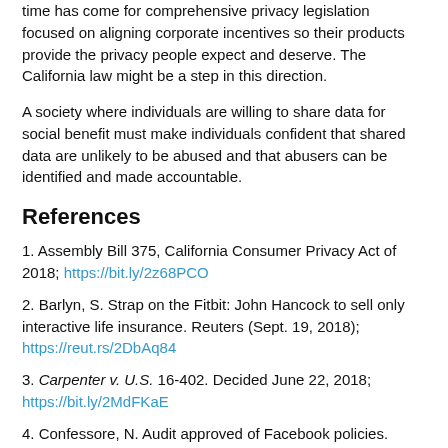time has come for comprehensive privacy legislation focused on aligning corporate incentives so their products provide the privacy people expect and deserve. The California law might be a step in this direction.
A society where individuals are willing to share data for social benefit must make individuals confident that shared data are unlikely to be abused and that abusers can be identified and made accountable.
References
1. Assembly Bill 375, California Consumer Privacy Act of 2018; https://bit.ly/2z68PCO
2. Barlyn, S. Strap on the Fitbit: John Hancock to sell only interactive life insurance. Reuters (Sept. 19, 2018); https://reut.rs/2DbAq84
3. Carpenter v. U.S. 16-402. Decided June 22, 2018; https://bit.ly/2MdFKaE
4. Confessore, N. Audit approved of Facebook policies.